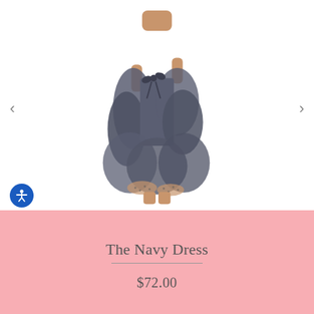[Figure (photo): A model wearing a navy/dark blue ruffle wrap dress with a bow tie at the waist. The dress features layered ruffles and a high-low hem with a dotted tulle underlayer visible at the hem. Navigation arrows are visible on left and right sides. An accessibility icon button is in the lower left of the photo area.]
The Navy Dress
$72.00